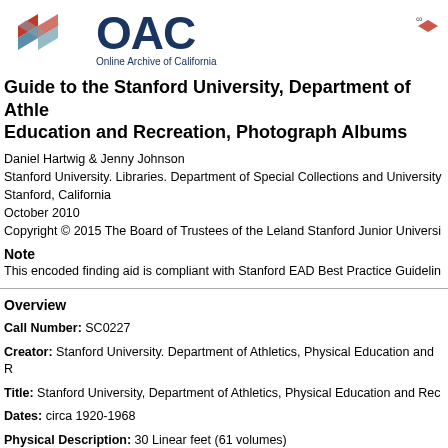[Figure (logo): OAC Online Archive of California logo with geometric diamond shape in red, teal, and gray, and bold dark blue OAC lettering with subtitle 'Online Archive of California']
Guide to the Stanford University, Department of Athletics, Physical Education and Recreation, Photograph Albums
Daniel Hartwig & Jenny Johnson
Stanford University. Libraries. Department of Special Collections and University Archives
Stanford, California
October 2010
Copyright © 2015 The Board of Trustees of the Leland Stanford Junior University
Note
This encoded finding aid is compliant with Stanford EAD Best Practice Guidelines
Overview
Call Number: SC0227
Creator: Stanford University. Department of Athletics, Physical Education and Recreation
Title: Stanford University, Department of Athletics, Physical Education and Recreation
Dates: circa 1920-1968
Physical Description: 30 Linear feet (61 volumes)